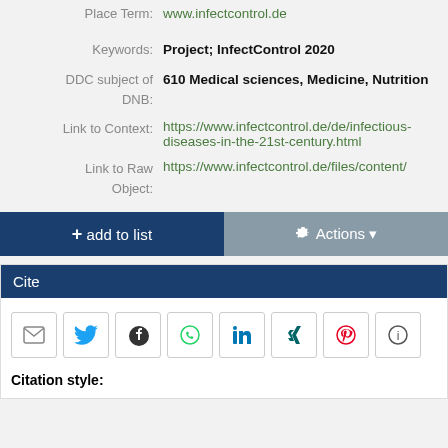Place Term: www.infectcontrol.de
Keywords: Project; InfectControl 2020
DDC subject of DNB: 610 Medical sciences, Medicine, Nutrition
Link to Context: https://www.infectcontrol.de/de/infectious-diseases-in-the-21st-century.html
Link to Raw Object: https://www.infectcontrol.de/files/content/
+ add to list
Actions
Cite
[Figure (infographic): Social sharing icon buttons: email, Twitter, Facebook, WhatsApp, LinkedIn, XING, Pinterest, info]
Citation style: